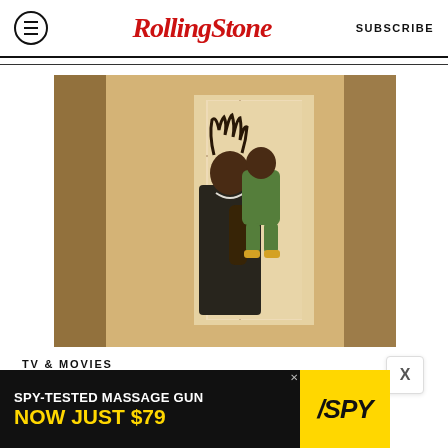Rolling Stone  SUBSCRIBE
[Figure (photo): A man with dreadlocks wearing a black t-shirt and necklace holds a young child dressed in a green outfit, laughing together in an indoor hallway setting.]
TV & MOVIES
[Figure (infographic): Advertisement banner: SPY-TESTED MASSAGE GUN NOW JUST $79, with SPY logo on yellow background]